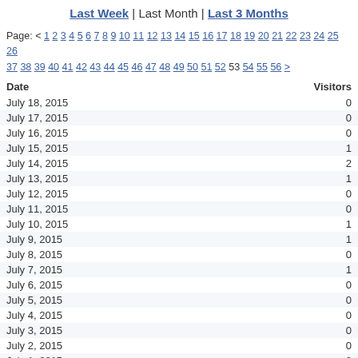Last Week | Last Month | Last 3 Months
Page: < 1 2 3 4 5 6 7 8 9 10 11 12 13 14 15 16 17 18 19 20 21 22 23 24 25 26 37 38 39 40 41 42 43 44 45 46 47 48 49 50 51 52 53 54 55 56 >
| Date | Visitors |
| --- | --- |
| July 18, 2015 | 0 |
| July 17, 2015 | 0 |
| July 16, 2015 | 0 |
| July 15, 2015 | 1 |
| July 14, 2015 | 2 |
| July 13, 2015 | 1 |
| July 12, 2015 | 0 |
| July 11, 2015 | 0 |
| July 10, 2015 | 1 |
| July 9, 2015 | 1 |
| July 8, 2015 | 0 |
| July 7, 2015 | 1 |
| July 6, 2015 | 0 |
| July 5, 2015 | 0 |
| July 4, 2015 | 0 |
| July 3, 2015 | 0 |
| July 2, 2015 | 0 |
| July 1, 2015 | 0 |